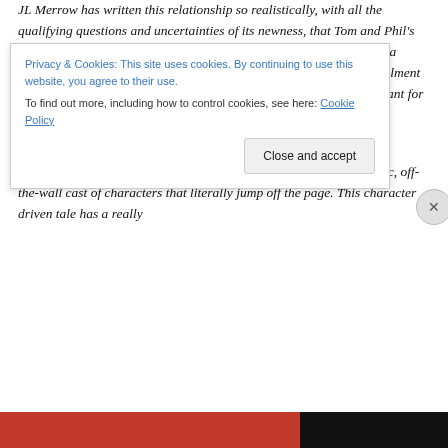JL Merrow has written this relationship so realistically, with all the qualifying questions and uncertainties of its newness, that Tom and Phil's feelings are often a mystery to the other…grab yourself a biccie and a cuppa, come for the mystery, stay for the humor, and enjoy this installment of the series for the murderous plot that only an author with a penchant for premeditated shenanigans could craft – 5 stars, Lisa Horan, The Novel Approach
JL has written a fascinating, quirky story filled with a vivid, eccentric, off-the-wall cast of characters that literally jump off the page. This character driven tale has a really
Privacy & Cookies: This site uses cookies. By continuing to use this website, you agree to their use.
To find out more, including how to control cookies, see here: Cookie Policy